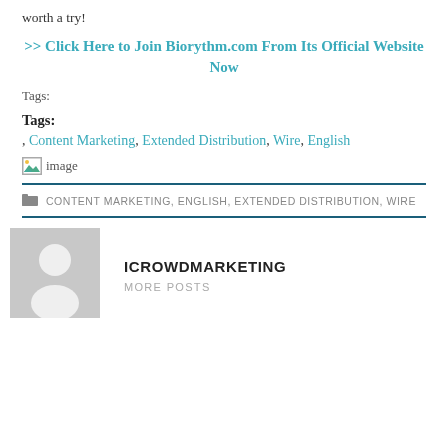worth a try!
>> Click Here to Join Biorythm.com From Its Official Website Now
Tags:
Tags:
, Content Marketing, Extended Distribution, Wire, English
[Figure (other): Broken image placeholder with green triangle icon and alt text 'image']
CONTENT MARKETING, ENGLISH, EXTENDED DISTRIBUTION, WIRE
ICROWDMARKETING
MORE POSTS